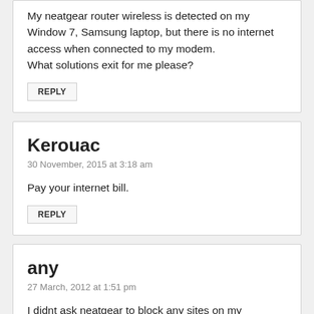My neatgear router wireless is detected on my Window 7, Samsung laptop, but there is no internet access when connected to my modem. What solutions exit for me please?
REPLY
Kerouac
30 November, 2015 at 3:18 am
Pay your internet bill.
REPLY
any
27 March, 2012 at 1:51 pm
I didnt ask neatgear to block any sites on my computer. I suddeny cant get on facebook and need to know what to do to get this site unblocked???